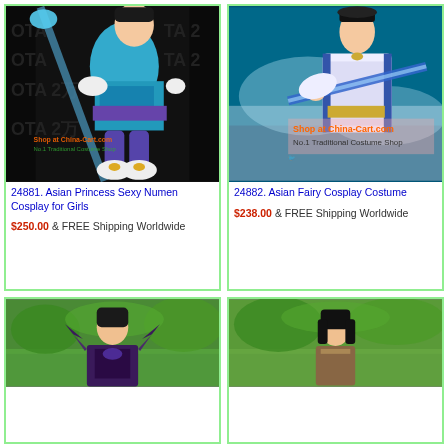[Figure (photo): Asian woman in blue turquoise fantasy/cosplay costume holding a blue staff, standing in front of DOTA 2 backdrop. White fluffy boots with gold ribbons. Shop at China-Cart.com watermark visible.]
24881. Asian Princess Sexy Numen Cosplay for Girls
$250.00 & FREE Shipping Worldwide
[Figure (photo): Asian woman in white and blue traditional Chinese fairy costume holding a blue sword, teal/blue fantasy background. Shop at China-Cart.com overlay text visible.]
24882. Asian Fairy Cosplay Costume
$238.00 & FREE Shipping Worldwide
[Figure (photo): Asian man in dark purple fantasy/cosplay armor costume with dark hair, outdoor green nature background.]
[Figure (photo): Asian woman in costume with long dark hair, outdoor green nature background.]